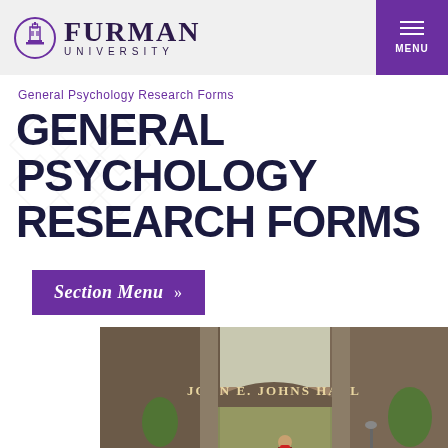Furman University
General Psychology Research Forms
GENERAL PSYCHOLOGY RESEARCH FORMS
Section Menu »
[Figure (photo): A student with a red backpack walking through the archway of John E. Johns Hall at Furman University campus, with trees and brick buildings visible in the background.]